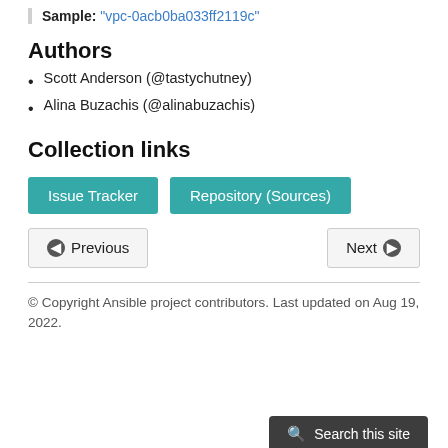Sample: "vpc-0acb0ba033ff2119c"
Authors
Scott Anderson (@tastychutney)
Alina Buzachis (@alinabuzachis)
Collection links
Issue Tracker
Repository (Sources)
Previous
Next
© Copyright Ansible project contributors. Last updated on Aug 19, 2022.
Search this site